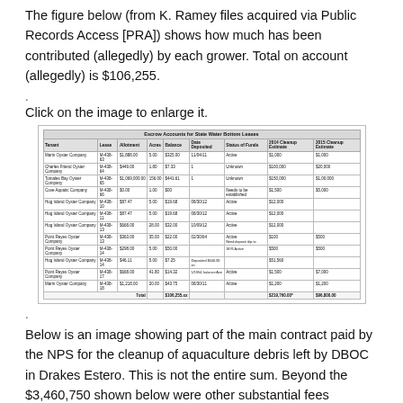The figure below (from K. Ramey files acquired via Public Records Access [PRA]) shows how much has been contributed (allegedly) by each grower. Total on account (allegedly) is $106,255.
.
Click on the image to enlarge it.
[Figure (table-as-image): Escrow Accounts for State Water Bottom Leases — table showing tenant, lease, acreage, acres, balance, date deposited, status of funds, 2014 cleanup estimate, 2015 cleanup estimate for multiple oyster companies including Marin Oyster Company, Charles Friend Oyster Company, Tomales Bay Oyster Company, Cove Aquatic Company, Hog Island Oyster Company (multiple leases), Point Reyes Oyster Company (multiple entries), and Marin Oyster Company.]
.
Below is an image showing part of the main contract paid by the NPS for the cleanup of aquaculture debris left by DBOC in Drakes Estero. This is not the entire sum. Beyond the $3,460,750 shown below were other substantial fees associated with the removal of oysters and debris left by DBOC.